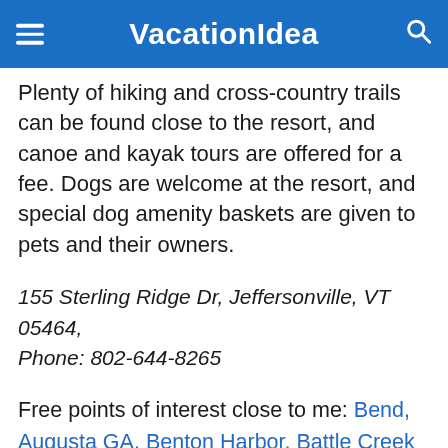VacationIdea
Plenty of hiking and cross-country trails can be found close to the resort, and canoe and kayak tours are offered for a fee. Dogs are welcome at the resort, and special dog amenity baskets are given to pets and their owners.
155 Sterling Ridge Dr, Jeffersonville, VT 05464, Phone: 802-644-8265
Free points of interest close to me: Bend, Augusta GA, Benton Harbor, Battle Creek